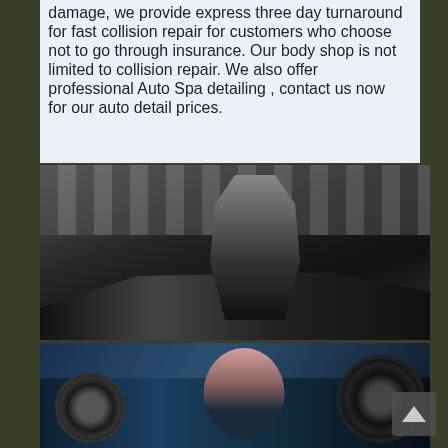damage, we provide express three day turnaround for fast collision repair for customers who choose not to go through insurance. Our body shop is not limited to collision repair. We also offer professional Auto Spa detailing , contact us now for our auto detail prices.
[Figure (photo): Black and white photo of a man in dark clothing leaning against a luxury black sports car under a bridge or overpass structure]
[Figure (photo): Color photo of a woman in sunglasses posing next to a dark blue luxury car, showing the wheel and car body]